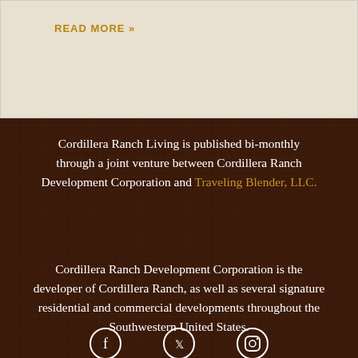READ MORE »
Cordillera Ranch Living is published bi-monthly through a joint venture between Cordillera Ranch Development Corporation and Traveling Blender, LLC.
Cordillera Ranch Development Corporation is the developer of Cordillera Ranch, as well as several signature residential and commercial developments throughout the Southwestern United States.
[Figure (illustration): Social media icons for Facebook, Twitter, and Instagram in white circles]